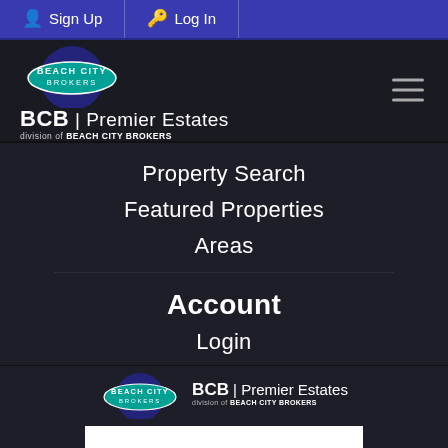Sign Up | Log In
[Figure (logo): BCB Premier Estates / Beach City Brokers logo with circle background and hamburger menu icon]
Property Search
Featured Properties
Areas
Account
Login
[Figure (logo): BCB Premier Estates / Beach City Brokers footer logo]